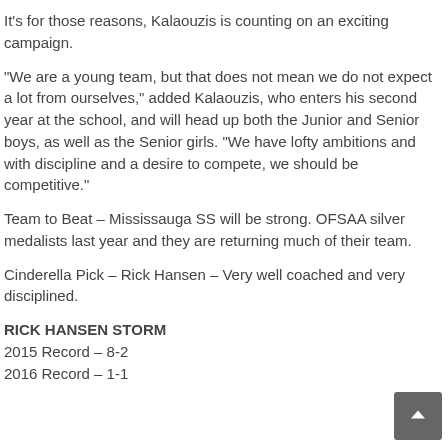It's for those reasons, Kalaouzis is counting on an exciting campaign.
“We are a young team, but that does not mean we do not expect a lot from ourselves,” added Kalaouzis, who enters his second year at the school, and will head up both the Junior and Senior boys, as well as the Senior girls. “We have lofty ambitions and with discipline and a desire to compete, we should be competitive.”
Team to Beat – Mississauga SS will be strong. OFSAA silver medalists last year and they are returning much of their team.
Cinderella Pick – Rick Hansen – Very well coached and very disciplined.
RICK HANSEN STORM
2015 Record – 8-2
2016 Record – 1-1